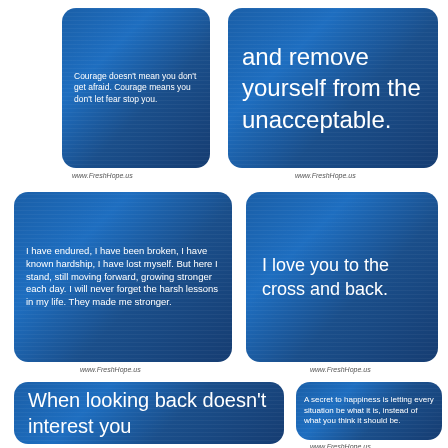[Figure (other): Blue card with quote: Courage doesn't mean you don't get afraid. Courage means you don't let fear stop you.]
www.FreshHope.us
[Figure (other): Blue card with quote: and remove yourself from the unacceptable.]
www.FreshHope.us
[Figure (other): Blue card with quote: I have endured, I have been broken, I have known hardship, I have lost myself. But here I stand, still moving forward, growing stronger each day. I will never forget the harsh lessons in my life. They made me stronger.]
www.FreshHope.us
[Figure (other): Blue card with quote: I love you to the cross and back.]
www.FreshHope.us
[Figure (other): Blue card with quote: When looking back doesn't interest you]
[Figure (other): Blue card with quote: A secret to happiness is letting every situation be what it is, instead of what you think it should be.]
www.FreshHope.us